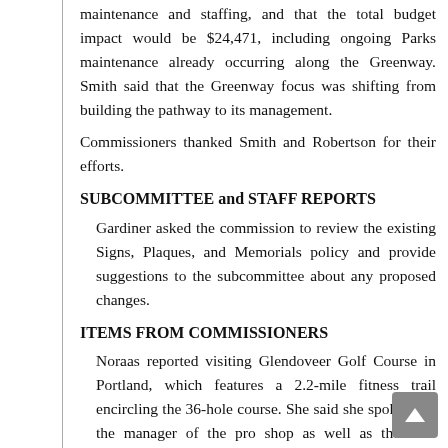maintenance and staffing, and that the total budget impact would be $24,471, including ongoing Parks maintenance already occurring along the Greenway. Smith said that the Greenway focus was shifting from building the pathway to its management.
Commissioners thanked Smith and Robertson for their efforts.
SUBCOMMITTEE and STAFF REPORTS
Gardiner asked the commission to review the existing Signs, Plaques, and Memorials policy and provide suggestions to the subcommittee about any proposed changes.
ITEMS FROM COMMISSIONERS
Noraas reported visiting Glendoveer Golf Course in Portland, which features a 2.2-mile fitness trail encircling the 36-hole course. She said she spoke with the manager of the pro shop as well as the staff maintenance worker, both of whom provided